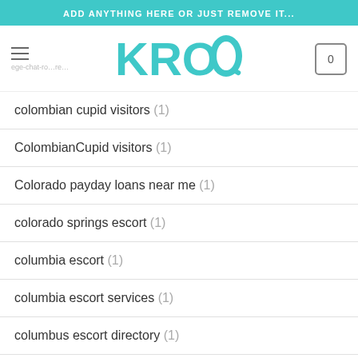ADD ANYTHING HERE OR JUST REMOVE IT...
[Figure (logo): KROQ logo in teal with hamburger menu icon on left and cart icon on right]
colombian cupid visitors (1)
ColombianCupid visitors (1)
Colorado payday loans near me (1)
colorado springs escort (1)
columbia escort (1)
columbia escort services (1)
columbus escort directory (1)
columbus live escort reviews (1)
columbus-1 escort service (1)
... escort service (1)